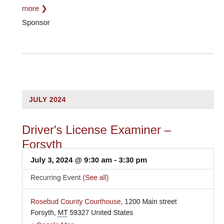more ›
Sponsor
JULY 2024
Driver's License Examiner – Forsyth
July 3, 2024 @ 9:30 am - 3:30 pm
Recurring Event (See all)
Rosebud County Courthouse, 1200 Main street Forsyth, MT 59327 United States
+ Google Map